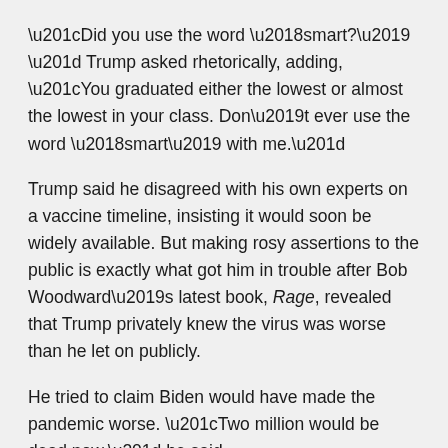“Did you use the word ‘smart?’ ” Trump asked rhetorically, adding, “You graduated either the lowest or almost the lowest in your class. Don’t ever use the word ‘smart’ with me.”
Trump said he disagreed with his own experts on a vaccine timeline, insisting it would soon be widely available. But making rosy assertions to the public is exactly what got him in trouble after Bob Woodward’s latest book, Rage, revealed that Trump privately knew the virus was worse than he let on publicly.
He tried to claim Biden would have made the pandemic worse. “Two million would be dead now,” he said.
But Trump is president, and, on average, a majority of Americans say they disapprove of the job he’s doing handling the coronavirus.